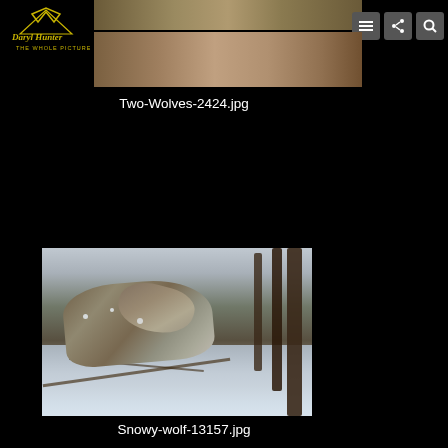[Figure (photo): Wildlife photography website header with logo 'Daryl Hunter The Whole Picture' in gold text on black background, navigation icons for menu, share, and search on right side, with photo strip showing landscape/terrain in center]
[Figure (photo): Cropped landscape photo strip showing brown vegetation and terrain, part of a wolf photography gallery]
Two-Wolves-2424.jpg
[Figure (photo): Wolf walking through snowy forest with pine trees in background, snow covering ground and wolf's fur, wildlife photography image]
Snowy-wolf-13157.jpg